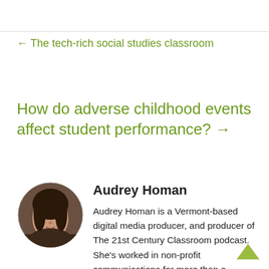← The tech-rich social studies classroom
How do adverse childhood events affect student performance? →
Audrey Homan
Audrey Homan is a Vermont-based digital media producer, and producer of The 21st Century Classroom podcast. She's worked in non-profit communications for more than a decade, and in her spare time writes tiny video games and mucks about with augmented reality and arduinos, ably assisted by five dogs. Interviewing students and